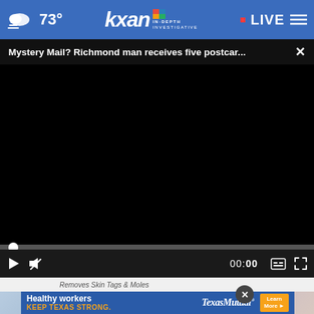73° KXAN IN-DEPTH INVESTIGATIVE LIVE
Mystery Mail? Richmond man receives five postcar...
[Figure (screenshot): Black video player area, paused at 00:00 with video controls including play button, mute button, time display showing 00:00, captions and fullscreen buttons, and a progress bar with white thumb at start.]
Removes Skin Tags & Moles
[Figure (photo): Blurred background with hands/medical imagery, with a Texas Mutual advertisement banner overlay reading 'Healthy workers KEEP TEXAS STRONG. TexasMutual Learn More'.]